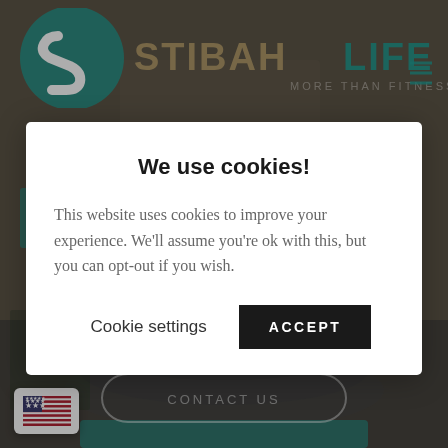[Figure (screenshot): StibahLife website background showing logo with teal S icon and STIBAH in tan and LIFE in teal, tagline MORE THAN FITNESS, hamburger menu icon, search icon, partial Welcome to text, Consulting text, CONTACT US button with rounded border, US flag language selector, and dark overlay]
We use cookies!
This website uses cookies to improve your experience. We'll assume you're ok with this, but you can opt-out if you wish.
Cookie settings
ACCEPT